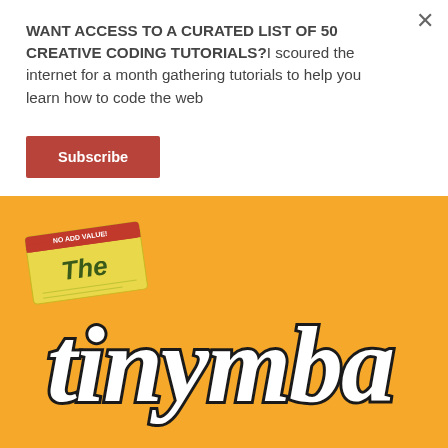WANT ACCESS TO A CURATED LIST OF 50 CREATIVE CODING TUTORIALS?I scoured the internet for a month gathering tutorials to help you learn how to code the web
Subscribe
[Figure (logo): The Tiny MBA logo on an orange/yellow background. 'The' appears on a yellow sticky note/tag in the upper left, and 'tinymba' is written in large white bold cursive script with dark outline.]